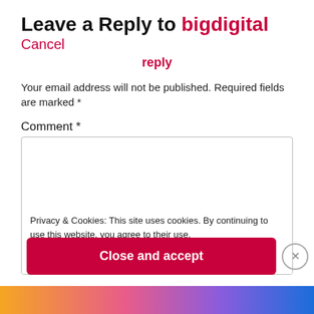Leave a Reply to bigdigital Cancel reply
Your email address will not be published. Required fields are marked *
Comment *
Privacy & Cookies: This site uses cookies. By continuing to use this website, you agree to their use.
To find out more, including how to control cookies, see here:
Cookie Policy
Close and accept